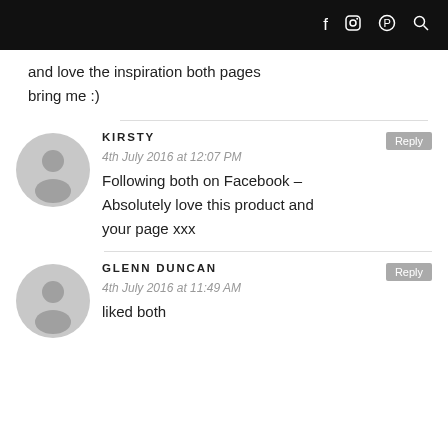f  [instagram]  [pinterest]  [search]
and love the inspiration both pages bring me :)
KIRSTY
4th July 2016 at 12:07 PM
Following both on Facebook – Absolutely love this product and your page xxx
GLENN DUNCAN
4th July 2016 at 11:49 AM
liked both